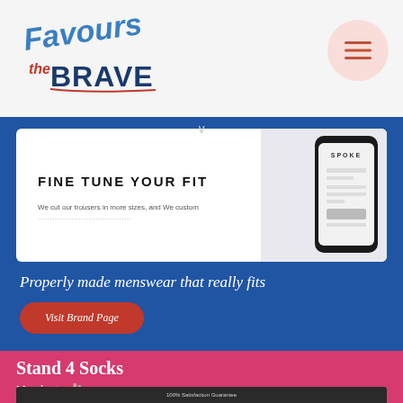[Figure (logo): Favours the Brave logo in blue and red handwritten style text]
[Figure (screenshot): SPOKE menswear website screenshot showing 'Fine Tune Your Fit' heading with phone mockup displaying the SPOKE app, on a white card background]
Properly made menswear that really fits
Visit Brand Page
Stand 4 Socks
Manchester 🧦
[Figure (screenshot): Stand 4 Socks website screenshot showing navigation bar with Women, Men, Type, About menus and colorful socks product images]